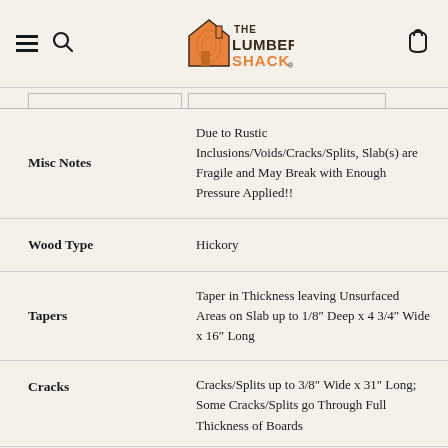The Lumber Shack
|  |  |
| --- | --- |
| Misc Notes | Due to Rustic Inclusions/Voids/Cracks/Splits, Slab(s) are Fragile and May Break with Enough Pressure Applied!! |
| Wood Type | Hickory |
| Tapers | Taper in Thickness leaving Unsurfaced Areas on Slab up to 1/8" Deep x 4 3/4" Wide x 16" Long |
| Cracks | Cracks/Splits up to 3/8" Wide x 31" Long; Some Cracks/Splits go Through Full Thickness of Boards |